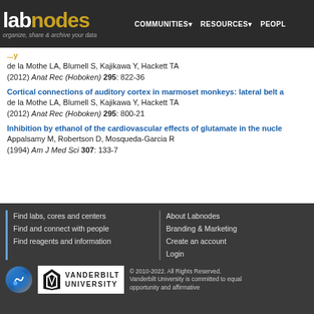labnodes — organize, share & archive your data | COMMUNITIES | RESOURCES | PEOPLE
de la Mothe LA, Blumell S, Kajikawa Y, Hackett TA (2012) Anat Rec (Hoboken) 295: 822-36
Cortical connections of auditory cortex in marmoset monkeys: lateral belt a...
de la Mothe LA, Blumell S, Kajikawa Y, Hackett TA (2012) Anat Rec (Hoboken) 295: 800-21
Inhibition by ethanol of the cardiovascular effects of glutamate in the nucle...
Appalsamy M, Robertson D, Mosqueda-Garcia R (1994) Am J Med Sci 307: 133-7
Find labs, cores and centers
Find and connect with people
Find reagents and information
About Labnodes
Branding & Marketing
Create an account
Login
© 2010-2022. All Rights Reserved. Vanderbilt University is committed to equal opportunity and affirmative action.